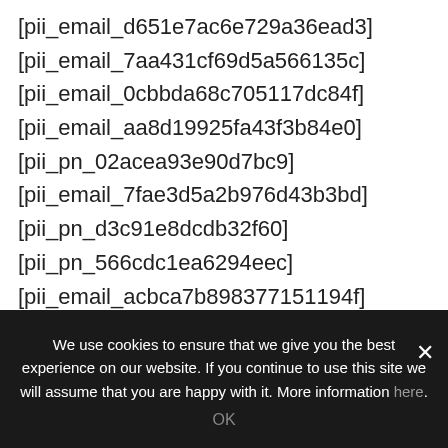[pii_email_d651e7ac6e729a36ead3]
[pii_email_7aa431cf69d5a566135c]
[pii_email_0cbbda68c705117dc84f]
[pii_email_aa8d19925fa43f3b84e0]
[pii_pn_02acea93e90d7bc9]
[pii_email_7fae3d5a2b976d43b3bd]
[pii_pn_d3c91e8dcdb32f60]
[pii_pn_566cdc1ea6294eec]
[pii_email_acbca7b898377151194f]
[pii_pn_29b3040397c410e8]
[pii_pn_d5ccc673493006b4]
[pii_email_00f2e2be8446cca7ae2a]
We use cookies to ensure that we give you the best experience on our website. If you continue to use this site we will assume that you are happy with it. More information here.
OK